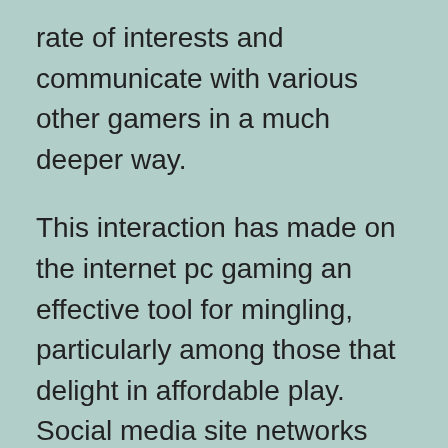rate of interests and communicate with various other gamers in a much deeper way.

This interaction has made on the internet pc gaming an effective tool for mingling, particularly among those that delight in affordable play. Social media site networks have developed from specialized systems to full-fledged internet industries. On the internet gaming has made it simpler than ever before to satisfy pals as well as develop brand-new social circles. In addition, gamers can meet up with their friends and make new ones, which makes the social networking facet of on the